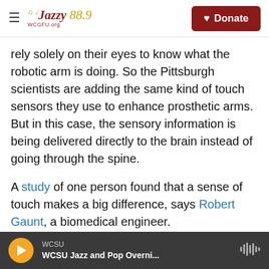Jazzy 88.9 WCSU | Donate
rely solely on their eyes to know what the robotic arm is doing. So the Pittsburgh scientists are adding the same kind of touch sensors they use to enhance prosthetic arms. But in this case, the sensory information is being delivered directly to the brain instead of going through the spine.
A study of one person found that a sense of touch makes a big difference, says Robert Gaunt, a biomedical engineer.
"It cuts in half the time it takes somebody to pick up objects and move them around," he says. And in
WCSU | WCSU Jazz and Pop Overni...